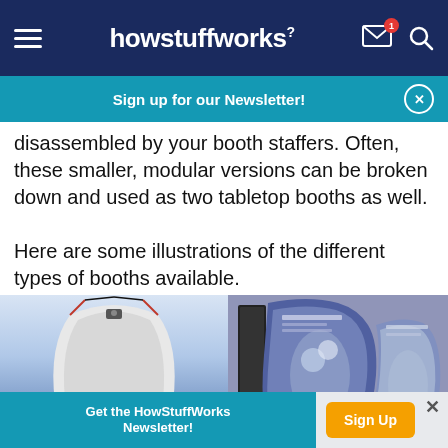howstuffworks
Sign up for our Newsletter!
disassembled by your booth staffers. Often, these smaller, modular versions can be broken down and used as two tabletop booths as well.
Here are some illustrations of the different types of booths available.
[Figure (photo): Two exhibition trade show booth displays side by side. Left: a white/grey modular pop-up booth with a curved panel structure and blue base. Right: a curved purple/blue display booth with backlit graphic panels.]
Get the HowStuffWorks Newsletter!
Sign Up